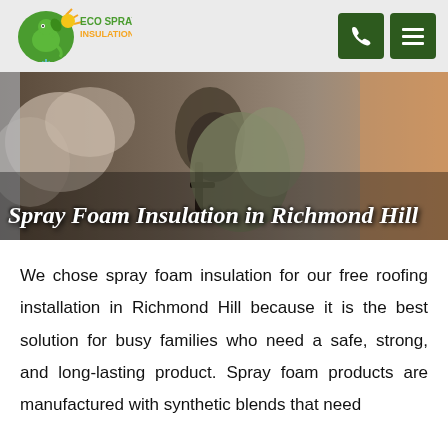[Figure (logo): Eco Spray Insulation logo with green gecko character, sun rays, and snowflake]
[Figure (photo): Worker in protective gear spraying foam insulation on a wall surface]
Spray Foam Insulation in Richmond Hill
We chose spray foam insulation for our free roofing installation in Richmond Hill because it is the best solution for busy families who need a safe, strong, and long-lasting product. Spray foam products are manufactured with synthetic blends that need